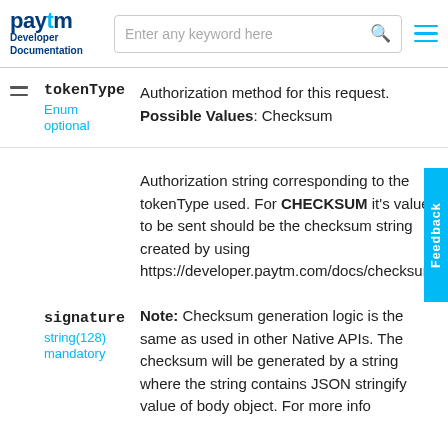Paytm Developer Documentation | Enter any keyword here
tokenType
Enum
optional
Authorization method for this request.
Possible Values: Checksum
signature
string(128)
mandatory
Authorization string corresponding to the tokenType used. For CHECKSUM it's value to be sent should be the checksum string created by using https://developer.paytm.com/docs/checksum/.
Note: Checksum generation logic is the same as used in other Native APIs. The checksum will be generated by a string where the string contains JSON stringify value of body object. For more info